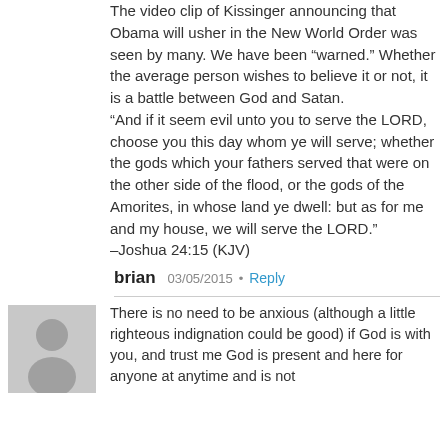The video clip of Kissinger announcing that Obama will usher in the New World Order was seen by many. We have been “warned.” Whether the average person wishes to believe it or not, it is a battle between God and Satan.
“And if it seem evil unto you to serve the LORD, choose you this day whom ye will serve; whether the gods which your fathers served that were on the other side of the flood, or the gods of the Amorites, in whose land ye dwell: but as for me and my house, we will serve the LORD.”
–Joshua 24:15 (KJV)
[Figure (illustration): Generic gray avatar placeholder image showing a silhouette of a person]
brian
03/05/2015
Reply
There is no need to be anxious (although a little righteous indignation could be good) if God is with you, and trust me God is present and here for anyone at anytime and is not